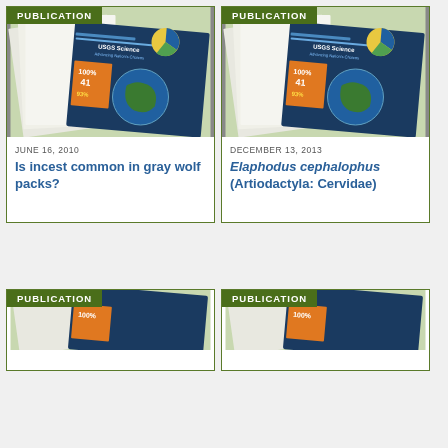PUBLICATION
[Figure (photo): USGS Science publication cover showing documents with charts, globe imagery, and statistics]
JUNE 16, 2010
Is incest common in gray wolf packs?
PUBLICATION
[Figure (photo): USGS Science publication cover showing documents with charts, globe imagery, and statistics]
DECEMBER 13, 2013
Elaphodus cephalophus (Artiodactyla: Cervidae)
PUBLICATION
PUBLICATION